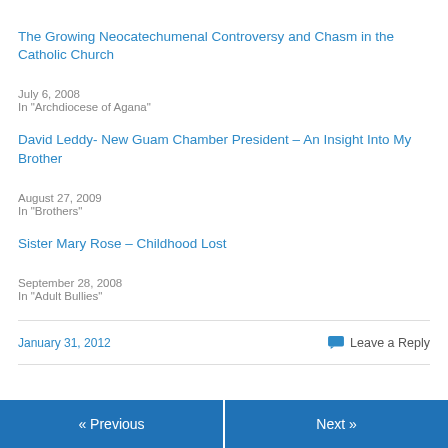The Growing Neocatechumenal Controversy and Chasm in the Catholic Church
July 6, 2008
In "Archdiocese of Agana"
David Leddy- New Guam Chamber President – An Insight Into My Brother
August 27, 2009
In "Brothers"
Sister Mary Rose – Childhood Lost
September 28, 2008
In "Adult Bullies"
January 31, 2012
Leave a Reply
« Previous    Next »